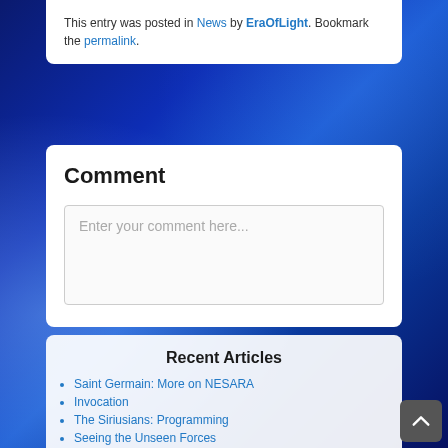This entry was posted in News by EraOfLight. Bookmark the permalink.
Comment
Enter your comment here...
Recent Articles
Saint Germain: More on NESARA
Invocation
The Siriusians: Programming
Seeing the Unseen Forces
Accessing Spiritual Abilities Part 1: Empathic Abilities
The Nature Spirits: Balanced Creation